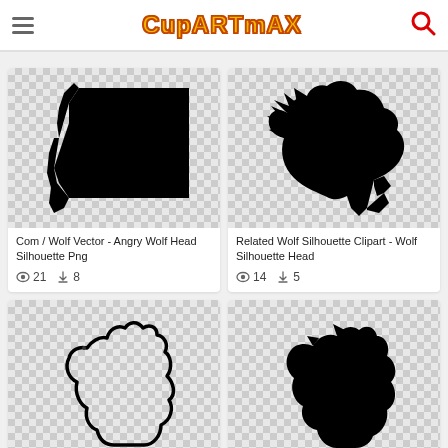ClipArtMax
[Figure (screenshot): Clipart website showing wolf silhouette images grid]
Com / Wolf Vector - Angry Wolf Head Silhouette Png
21 views  8 downloads
Related Wolf Silhouette Clipart - Wolf Silhouette Head
14 views  5 downloads
[Figure (illustration): Howling wolf outline drawing on checkered background]
[Figure (illustration): Howling wolf silhouette on checkered background]